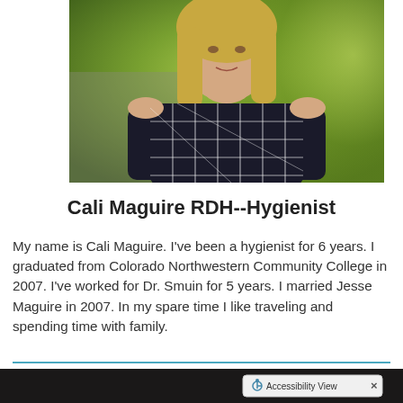[Figure (photo): Portrait photo of Cali Maguire, a woman with blonde hair wearing a dark navy/black checkered grid-pattern dress, photographed outdoors with green blurred background]
Cali Maguire RDH--Hygienist
My name is Cali Maguire. I've been a hygienist for 6 years. I graduated from Colorado Northwestern Community College in 2007. I've worked for Dr. Smuin for 5 years. I married Jesse Maguire in 2007. In my spare time I like traveling and spending time with family.
[Figure (screenshot): Bottom partial screenshot showing a dark image strip with an Accessibility View button overlay in the bottom right]